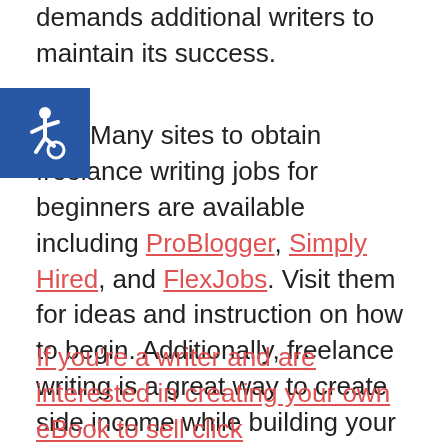demands additional writers to maintain its success.
[Figure (illustration): Accessibility icon (wheelchair symbol) in white on blue square background]
Many sites to obtain freelance writing jobs for beginners are available including ProBlogger, Simply Hired, and FlexJobs. Visit them for ideas and instruction on how to begin. Additionally, freelance writing is a great way to create side income while building your own blog to generate money consistently for you.
If you're a writer and are interested in creating your own eBook to sell click